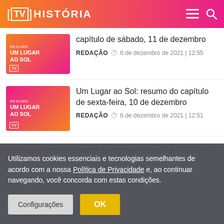[TV] HISTÓRIA
[Figure (screenshot): Thumbnail for article about 'Um Lugar ao Sol' episode summary for Saturday, December 11 – gradient background with woman]
capítulo de sábado, 11 de dezembro
REDAÇÃO  ⏱ 6 de dezembro de 2021 | 12:55
[Figure (screenshot): Thumbnail for article about 'Um Lugar ao Sol' episode summary for Friday, December 10 – gradient background with woman]
Um Lugar ao Sol: resumo do capítulo de sexta-feira, 10 de dezembro
REDAÇÃO  ⏱ 6 de dezembro de 2021 | 12:51
Um Lugar ao Sol: resumo do capítulo de quinta-feira, 09 de
Utilizamos cookies essenciais e tecnologias semelhantes de acordo com a nossa Política de Privacidade e, ao continuar navegando, você concorda com estas condições.
Configurações
OK